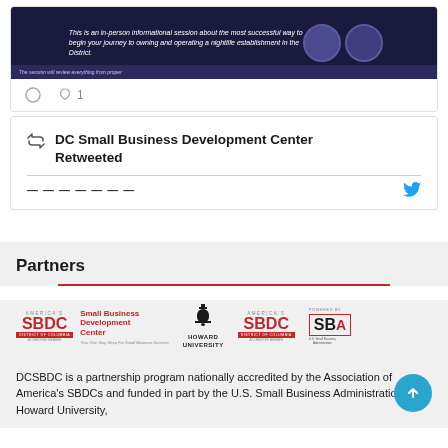[Figure (screenshot): Social media post screenshot showing an event flyer for nightlife establishment in DC with dark blue background, two circular event images, and text about an in-person informational session]
This is an in-person informational session about the most successful way to begin your journey to owning and operating a nightlife establishment in the District.
1 (like count)
DC Small Business Development Center Retweeted
Partners
[Figure (logo): SBDC logos row: America's SBDC District of Columbia Accredited Member - Small Business Development Center - Your One Stop Shop For Small Business Success; Howard University logo; America's SBDC District of Columbia Accredited Member logo; Powered by SBA logo]
DCSBDC is a partnership program nationally accredited by the Association of America's SBDCs and funded in part by the U.S. Small Business Administration, Howard University,